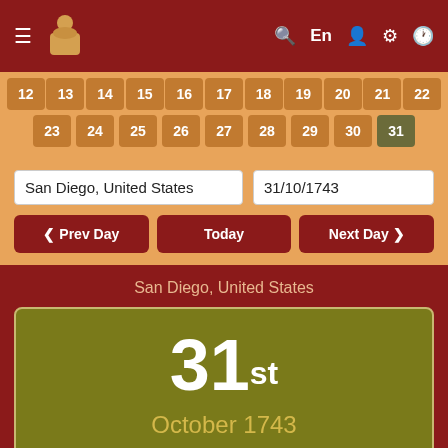[Figure (screenshot): Top navigation bar with hamburger menu icon, monk logo, search icon, En language selector, user icon, settings icon, and clock icon on dark red background]
[Figure (other): Calendar rows showing dates 12-22 and 23-31 on tan/orange background, with date 31 highlighted in olive/dark yellow]
San Diego, United States
31/10/1743
< Prev Day
Today
Next Day >
San Diego, United States
31st October 1743 Thursday / ????????